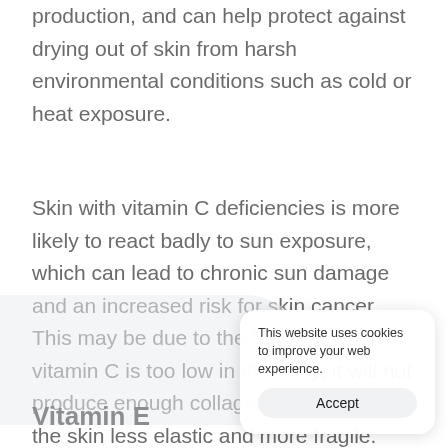production, and can help protect against drying out of skin from harsh environmental conditions such as cold or heat exposure.
Skin with vitamin C deficiencies is more likely to react badly to sun exposure, which can lead to chronic sun damage and an increased risk for skin cancer. This may be due to the fact that when vitamin C is too low in the body, it will not produce enough collagen, which makes the skin less elastic and more fragile.
Inadequate le[vels of vitamin C] t may also limit its func[tion as an antioxidant/fre]e radical scavenger for th[e skin].
Vitamin E